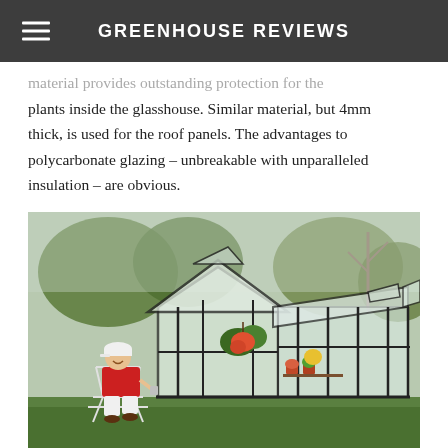GREENHOUSE REVIEWS
material provides outstanding protection for the plants inside the glasshouse. Similar material, but 4mm thick, is used for the roof panels. The advantages to polycarbonate glazing – unbreakable with unparalleled insulation – are obvious.
[Figure (photo): A woman in a red shirt and white cap sitting outdoors next to a large polycarbonate greenhouse with black frame, plants visible inside and hanging, trees in background.]